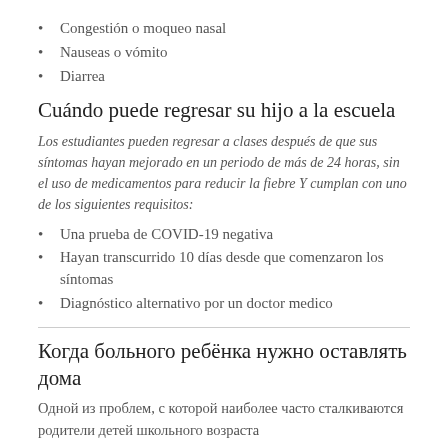Congestión o moqueo nasal
Nauseas o vómito
Diarrea
Cuándo puede regresar su hijo a la escuela
Los estudiantes pueden regresar a clases después de que sus síntomas hayan mejorado en un periodo de más de 24 horas, sin el uso de medicamentos para reducir la fiebre Y cumplan con uno de los siguientes requisitos:
Una prueba de COVID-19 negativa
Hayan transcurrido 10 días desde que comenzaron los síntomas
Diagnóstico alternativo por un doctor medico
Когда больного ребёнка нужно оставлять дома
Одной из проблем, с которой наиболее часто сталкиваются родители детей школьного возраста